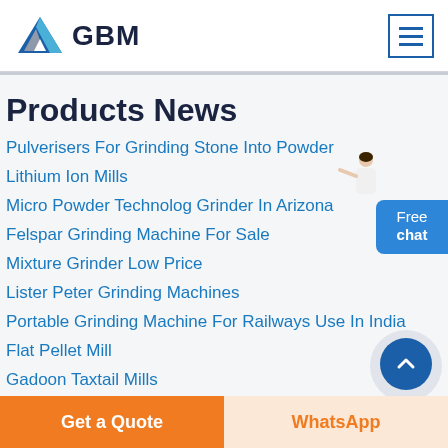GBM
Products News
Pulverisers For Grinding Stone Into Powder
Lithium Ion Mills
Micro Powder Technolog Grinder In Arizona
Felspar Grinding Machine For Sale
Mixture Grinder Low Price
Lister Peter Grinding Machines
Portable Grinding Machine For Railways Use In India
Flat Pellet Mill
Gadoon Taxtail Mills
Get a Quote
WhatsApp